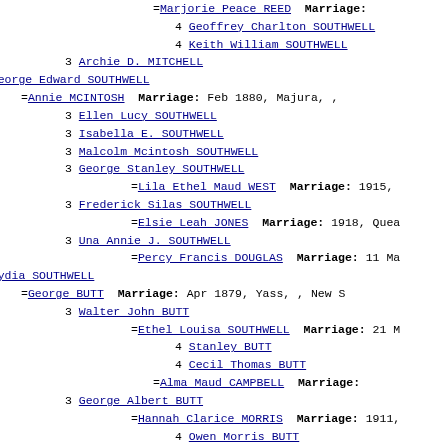Genealogy family tree listing showing descendants including SOUTHWELL, BUTT, MITCHELL families with marriage records
=Marjorie Peace REED  Marriage:
4 Geoffrey Charlton SOUTHWELL
4 Keith William SOUTHWELL
3 Archie D. MITCHELL
2 George Edward SOUTHWELL
=Annie MCINTOSH  Marriage: Feb 1880, Majura, ,
3 Ellen Lucy SOUTHWELL
3 Isabella E. SOUTHWELL
3 Malcolm Mcintosh SOUTHWELL
3 George Stanley SOUTHWELL
=Lila Ethel Maud WEST  Marriage: 1915,
3 Frederick Silas SOUTHWELL
=Elsie Leah JONES  Marriage: 1918, Quea
3 Una Annie J. SOUTHWELL
=Percy Francis DOUGLAS  Marriage: 11 Ma
2 Lydia SOUTHWELL
=George BUTT  Marriage: Apr 1879, Yass, , New S
3 Walter John BUTT
=Ethel Louisa SOUTHWELL  Marriage: 21 M
4 Stanley BUTT
4 Cecil Thomas BUTT
=Alma Maud CAMPBELL  Marriage:
3 George Albert BUTT
=Hannah Clarice MORRIS  Marriage: 1911,
4 Owen Morris BUTT
=Zatie Thelma Minnie HOWLETT  M
3 Charlotte Rose Anne BUTT
=Donald BUSH  Marriage: 1908, Yass, , N
4 Stanley BUSH
=Hazel Isabel TINNING  Marriage: